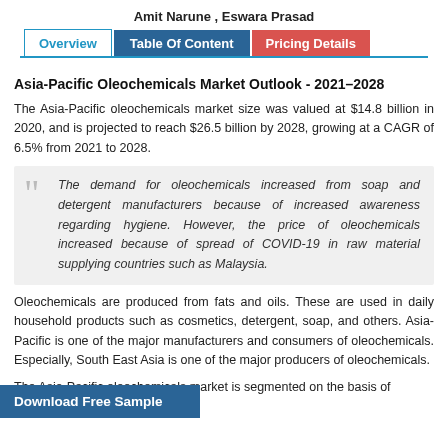Amit Narune , Eswara Prasad
Overview | Table Of Content | Pricing Details
Asia-Pacific Oleochemicals Market Outlook - 2021–2028
The Asia-Pacific oleochemicals market size was valued at $14.8 billion in 2020, and is projected to reach $26.5 billion by 2028, growing at a CAGR of 6.5% from 2021 to 2028.
The demand for oleochemicals increased from soap and detergent manufacturers because of increased awareness regarding hygiene. However, the price of oleochemicals increased because of spread of COVID-19 in raw material supplying countries such as Malaysia.
Oleochemicals are produced from fats and oils. These are used in daily household products such as cosmetics, detergent, soap, and others. Asia-Pacific is one of the major manufacturers and consumers of oleochemicals. Especially, South East Asia is one of the major producers of oleochemicals.
The Asia-Pacific oleochemicals market is segmented on the basis of